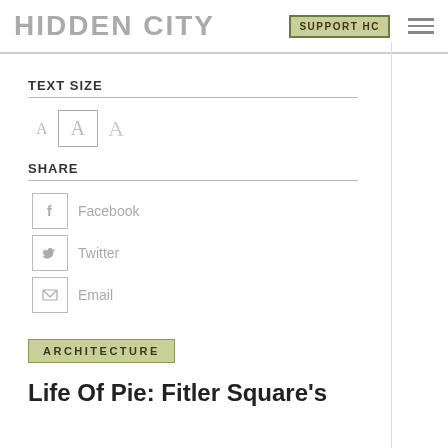HIDDEN CITY | SUPPORT HC
TEXT SIZE
A  A  A (text size options)
SHARE
Facebook
Twitter
Email
ARCHITECTURE
Life Of Pie: Fitler Square's